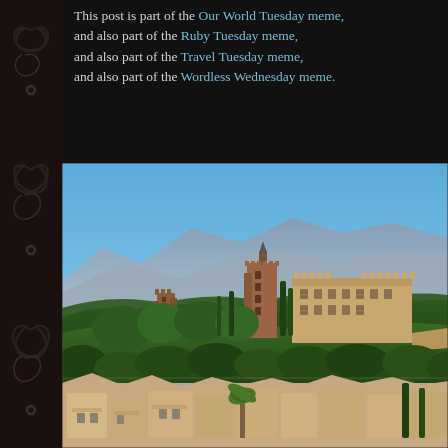This post is part of the Our World Tuesday meme, and also part of the Ruby Tuesday meme, and also part of the Travel Tuesday meme, and also part of the Wordless Wednesday meme.
[Figure (photo): Aerial/elevated view of the Alhambra palace complex in Granada, Spain, surrounded by dense green trees on a hillside, with mountains in the background under a clear blue sky. White-roofed buildings of the old town are visible in the foreground below.]